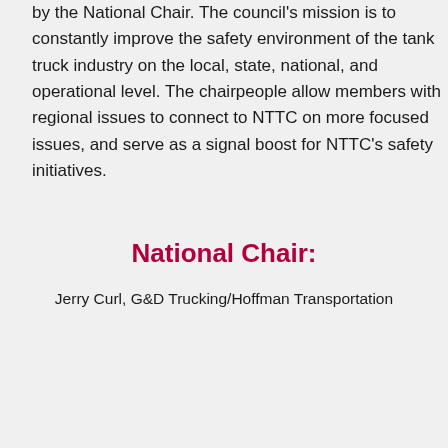by the National Chair. The council's mission is to constantly improve the safety environment of the tank truck industry on the local, state, national, and operational level. The chairpeople allow members with regional issues to connect to NTTC on more focused issues, and serve as a signal boost for NTTC's safety initiatives.
National Chair:
Jerry Curl, G&D Trucking/Hoffman Transportation
| Eastern Region | Midwest Region | Southern Region | Western Region |
| --- | --- | --- | --- |
| Chair... | Chair... | Chair... | Chair... |